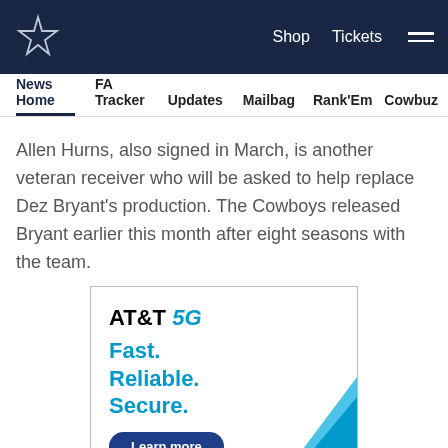Dallas Cowboys site header with logo, Shop, Tickets, and menu
News Home  FA Tracker  Updates  Mailbag  Rank'Em  Cowbuz
Allen Hurns, also signed in March, is another veteran receiver who will be asked to help replace Dez Bryant's production. The Cowboys released Bryant earlier this month after eight seasons with the team.
[Figure (other): AT&T 5G advertisement with text: Fast. Reliable. Secure. and a Learn more button, with decorative blue corner graphic]
[Figure (other): Social sharing icons: Facebook, Twitter, Email, Link]